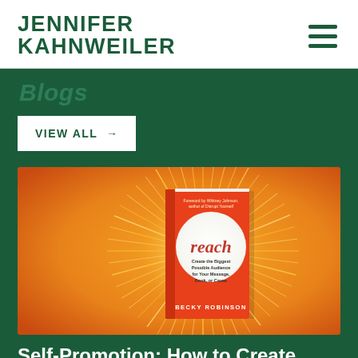JENNIFER KAHNWEILER
Blogs
VIEW ALL →
[Figure (photo): Book cover of 'Reach: Create the Biggest Possible Audience for Your Message, Book, or Cause' by Becky Robinson, with a foreword by Whitney Johnson, author of Disrupt Yourself. The cover features a bright orange and yellow sunburst radiating from a white circle, with the title in bold red text.]
Self-Promotion: How to Create